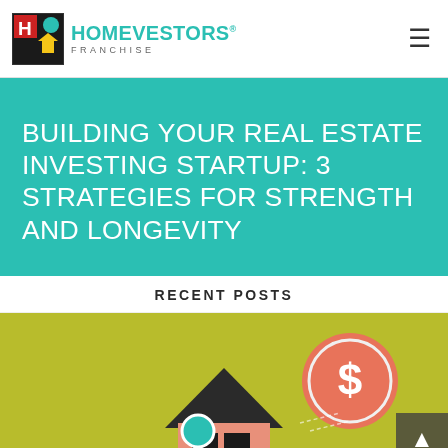[Figure (logo): HomeVestors Franchise logo with house icon and teal text]
BUILDING YOUR REAL ESTATE INVESTING STARTUP: 3 STRATEGIES FOR STRENGTH AND LONGEVITY
RECENT POSTS
[Figure (illustration): Illustration of a house with dollar sign coin and financial icons on olive/yellow background]